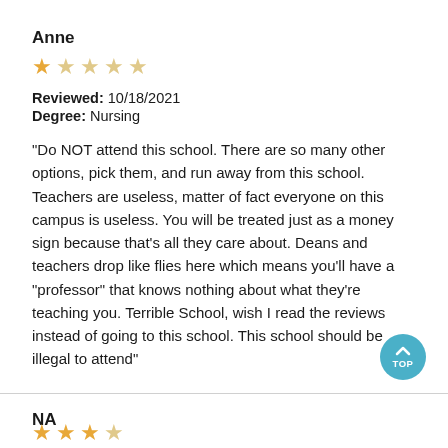Anne
[Figure (other): Star rating: 1 out of 5 stars]
Reviewed: 10/18/2021
Degree: Nursing
"Do NOT attend this school. There are so many other options, pick them, and run away from this school. Teachers are useless, matter of fact everyone on this campus is useless. You will be treated just as a money sign because that's all they care about. Deans and teachers drop like flies here which means you'll have a "professor" that knows nothing about what they're teaching you. Terrible School, wish I read the reviews instead of going to this school. This school should be illegal to attend"
NA
[Figure (other): Star rating: 3 out of 5 stars (partially visible)]